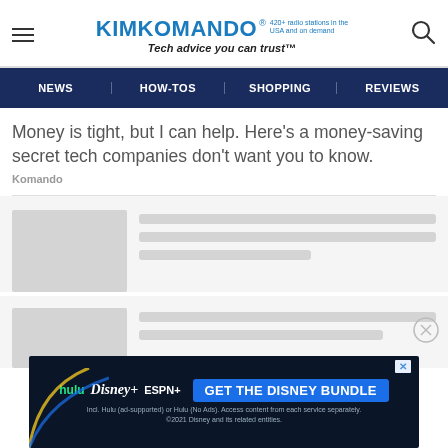KIMKOMANDO® 420+ radio stations in the USA and on demand Tech advice you can trust™
NEWS | HOW-TOS | SHOPPING | REVIEWS
Money is tight, but I can help. Here's a money-saving secret tech companies don't want you to know.
Komando
[Figure (screenshot): Loading skeleton placeholder with grey image block and grey text lines]
[Figure (screenshot): Loading skeleton placeholder with grey image block and grey text lines, with close (X) button overlay]
[Figure (screenshot): Disney Bundle advertisement banner: hulu Disney+ ESPN+ GET THE DISNEY BUNDLE. Incl. Hulu (ad-supported) or Hulu (No Ads). Access content from each service separately. ©2021 Disney and its related entities.]